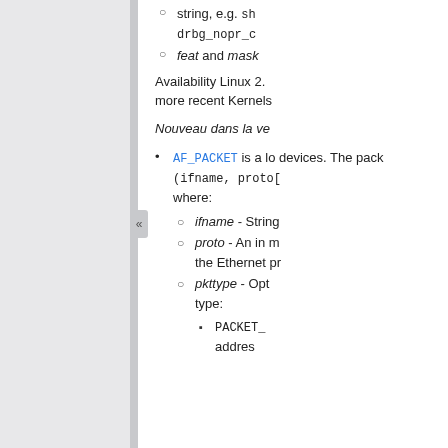string, e.g. sh... drbg_nopr_c...
feat and mask
Availability Linux 2... more recent Kernels...
Nouveau dans la ve...
AF_PACKET is a lo... devices. The pack... (ifname, proto[... where:
ifname - String...
proto - An in... the Ethernet pr...
pkttype - Opt... type:
PACKET_... addres...